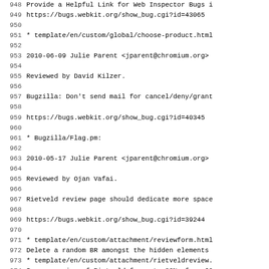948     Provide a Helpful Link for Web Inspector Bugs i
949     https://bugs.webkit.org/show_bug.cgi?id=43065
950
951     * template/en/custom/global/choose-product.html
952
953 2010-06-09  Julie Parent  <jparent@chromium.org>
954
955     Reviewed by David Kilzer.
956
957     Bugzilla: Don't send mail for cancel/deny/grant
958
959     https://bugs.webkit.org/show_bug.cgi?id=40345
960
961     * Bugzilla/Flag.pm:
962
963 2010-05-17  Julie Parent  <jparent@chromium.org>
964
965     Reviewed by Ojan Vafai.
966
967     Rietveld review page should dedicate more space
968
969     https://bugs.webkit.org/show_bug.cgi?id=39244
970
971     * template/en/custom/attachment/reviewform.html
972     Delete a random BR amongst the hidden elements
973     * template/en/custom/attachment/rietveldreview.
974     Increase size of Rietveld frame to 80%, from 60
975
976 2010-05-14  Julie Parent  <jparent@chromium.org>
977
978     Reviewed by Ojan Vafai.
979